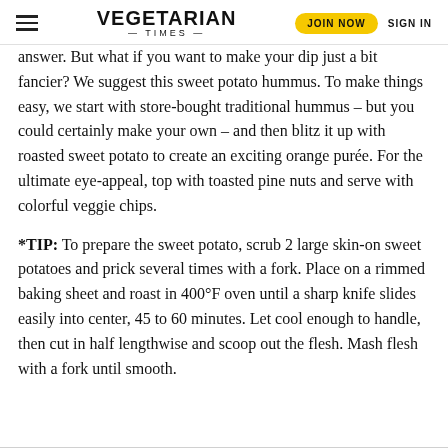VEGETARIAN TIMES | JOIN NOW | SIGN IN
answer. But what if you want to make your dip just a bit fancier? We suggest this sweet potato hummus. To make things easy, we start with store-bought traditional hummus – but you could certainly make your own – and then blitz it up with roasted sweet potato to create an exciting orange purée. For the ultimate eye-appeal, top with toasted pine nuts and serve with colorful veggie chips.
*TIP: To prepare the sweet potato, scrub 2 large skin-on sweet potatoes and prick several times with a fork. Place on a rimmed baking sheet and roast in 400°F oven until a sharp knife slides easily into center, 45 to 60 minutes. Let cool enough to handle, then cut in half lengthwise and scoop out the flesh. Mash flesh with a fork until smooth.